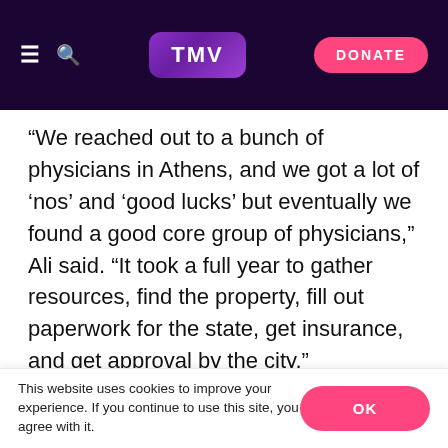TMV | DONATE
“We reached out to a bunch of physicians in Athens, and we got a lot of ‘nos’ and ‘good lucks’ but eventually we found a good core group of physicians,” Ali said. “It took a full year to gather resources, find the property, fill out paperwork for the state, get insurance, and get approval by the city.”
Ali said he and the other students involved are all members of the board running Shifa Clinic, along with three physicians, Fareha Rahim, Adeel Rahman and Zaighum Butt. The clinic also has around 20 volunteers and nine total physicians volunteering
This website uses cookies to improve your experience. If you continue to use this site, you agree with it. | OK